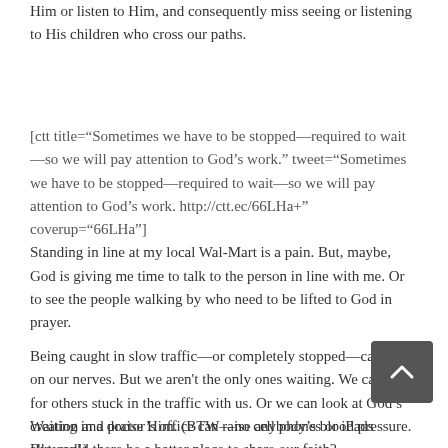Him or listen to Him, and consequently miss seeing or listening to His children who cross our paths.
[ctt title="Sometimes we have to be stopped—required to wait—so we will pay attention to God's work." tweet="Sometimes we have to be stopped—required to wait—so we will pay attention to God's work. http://ctt.ec/66LHa+" coverup="66LHa"]
Standing in line at my local Wal-Mart is a pain. But, maybe, God is giving me time to talk to the person in line with me. Or to see the people walking by who need to be lifted to God in prayer.
Being caught in slow traffic—or completely stopped—can grind on our nerves. But we aren't the only ones waiting. We can pray for others stuck in the traffic with us. Or we can look at God's creation and praise Him. (BTW—no cell phones or iPads allowed!)
Waiting in a doctor's office can raise anybody's blood pressure. But could there be a batter place to share our faith?